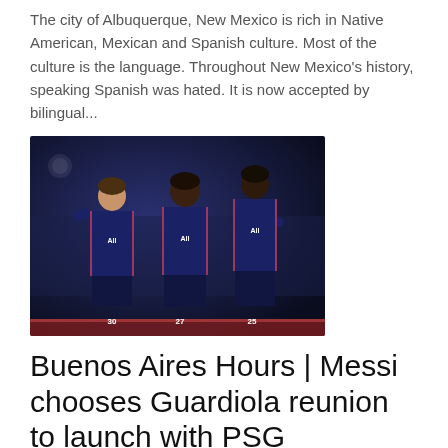The city of Albuquerque, New Mexico is rich in Native American, Mexican and Spanish culture. Most of the culture is the language. Throughout New Mexico's history, speaking Spanish was hated. It is now accepted by bilingual...
[Figure (photo): Three PSG soccer players in dark navy blue jerseys with 'All' sponsor logo celebrating on a pitch. Player numbers 30, 27, and 25 visible.]
Buenos Aires Hours | Messi chooses Guardiola reunion to launch with PSG
Erica Gill  •  Sep 29, 2021  [comment icon] 0
It was the answer to the funda...